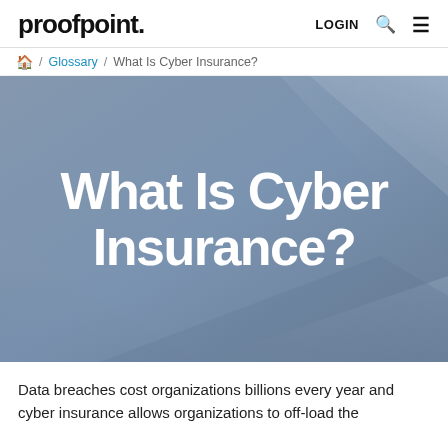proofpoint. LOGIN 🔍 ☰
🏠 / Glossary / What Is Cyber Insurance?
[Figure (illustration): Blue-grey gradient hero banner background with geometric diagonal shapes and the large white bold heading 'What Is Cyber Insurance?']
What Is Cyber Insurance?
Data breaches cost organizations billions every year and cyber insurance allows organizations to off-load the